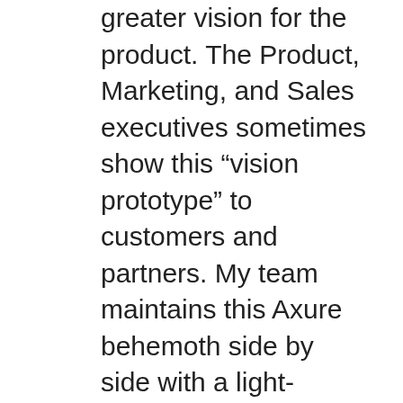greater vision for the product. The Product, Marketing, and Sales executives sometimes show this “vision prototype” to customers and partners. My team maintains this Axure behemoth side by side with a light-weight, flexible prototype running in InVision, which represents the next two or three Agile Sprints’ worth of work that will get us to the next milestone. I customarily create both prototypes from the same core Sketch 3 files while addressing the same use cases. The difference is in the quality of execution and the time horizon for the proposed designs.
At first glance, this idea looks wasteful, especially if our focus remains strictly on delivering the MVP. However, it would be a mistake to assume